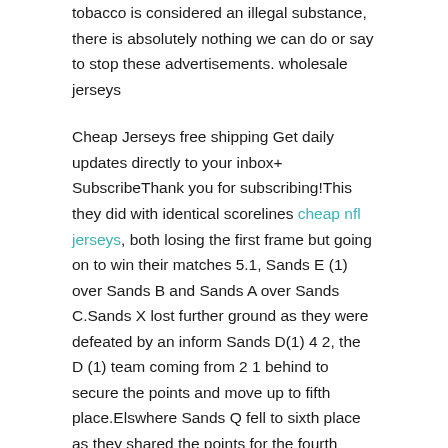tobacco is considered an illegal substance, there is absolutely nothing we can do or say to stop these advertisements. wholesale jerseys
Cheap Jerseys free shipping Get daily updates directly to your inbox+ SubscribeThank you for subscribing!This they did with identical scorelines cheap nfl jerseys, both losing the first frame but going on to win their matches 5.1, Sands E (1) over Sands B and Sands A over Sands C.Sands X lost further ground as they were defeated by an inform Sands D(1) 4 2, the D (1) team coming from 2 1 behind to secure the points and move up to fifth place.Elswhere Sands Q fell to sixth place as they shared the points for the fourth match in row.Current over 45s champion Davie Little showed his experience winning the last two frames for Sands E (2) and a valuable point.Breaks this week; John Kelly (30), Roy Handley